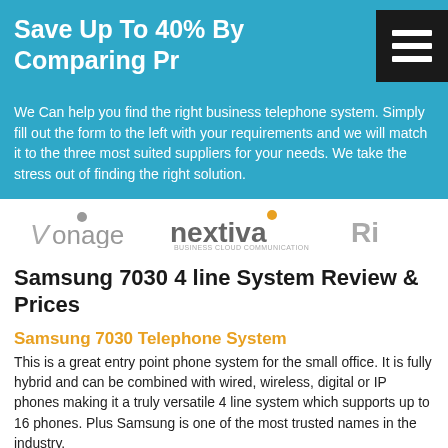Save Up To 40% By Comparing Pr
We Can help you find the right business telephone system. Simply fill out the form to the left with your requirements and we will match it to the three most suited suppliers for your needs. We take the stress out of finding the right solution.
[Figure (logo): Vonage, Nextiva Business Cloud Communication, and Ri logos displayed horizontally]
Samsung 7030 4 line System Review & Prices
Samsung 7030 Telephone System
This is a great entry point phone system for the small office. It is fully hybrid and can be combined with wired, wireless, digital or IP phones making it a truly versatile 4 line system which supports up to 16 phones. Plus Samsung is one of the most trusted names in the industry.